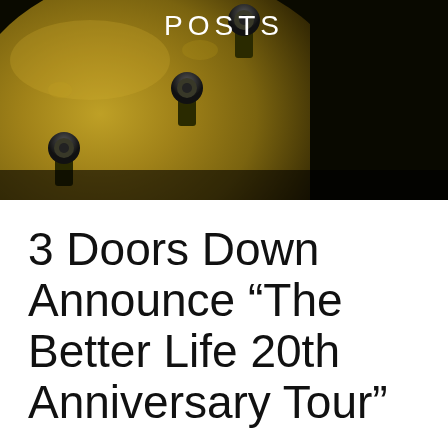Posts
[Figure (photo): Close-up dark photograph of a guitar headstock with tuning pegs, showing a yellowish-green guitar body against a dark background]
3 Doors Down Announce “The Better Life 20th Anniversary Tour”